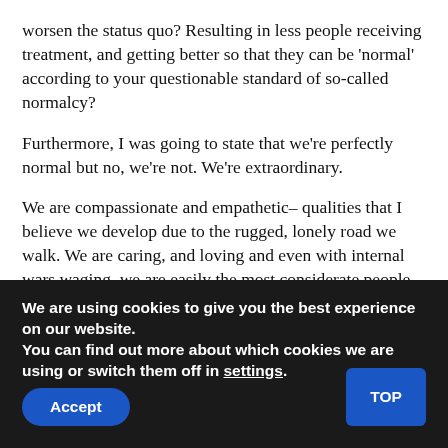worsen the status quo? Resulting in less people receiving treatment, and getting better so that they can be 'normal' according to your questionable standard of so-called normalcy?
Furthermore, I was going to state that we're perfectly normal but no, we're not. We're extraordinary.
We are compassionate and empathetic– qualities that I believe we develop due to the rugged, lonely road we walk. We are caring, and loving and even with internal wars waging, we are easily the most considerate people you will find. And we do all of that while facing a tide of shite from people who label, and discriminate against us for the unwelcome pain we bear.
We are using cookies to give you the best experience on our website.
You can find out more about which cookies we are using or switch them off in settings.